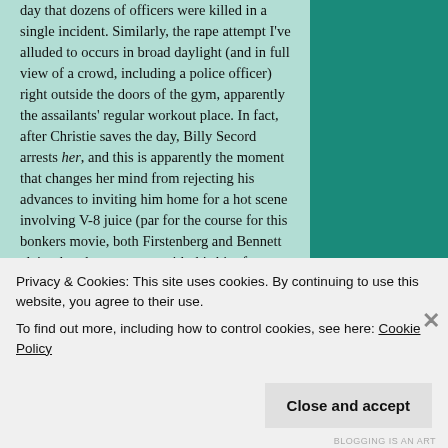day that dozens of officers were killed in a single incident. Similarly, the rape attempt I've alluded to occurs in broad daylight (and in full view of a crowd, including a police officer) right outside the doors of the gym, apparently the assailants' regular workout place. In fact, after Christie saves the day, Billy Secord arrests her, and this is apparently the moment that changes her mind from rejecting his advances to inviting him home for a hot scene involving V-8 juice (par for the course for this bonkers movie, both Firstenberg and Bennett claim that they came up with this bit of business)! (But again, maybe it was the black ninja who wanted to jump Billy's
Privacy & Cookies: This site uses cookies. By continuing to use this website, you agree to their use.
To find out more, including how to control cookies, see here: Cookie Policy
Close and accept